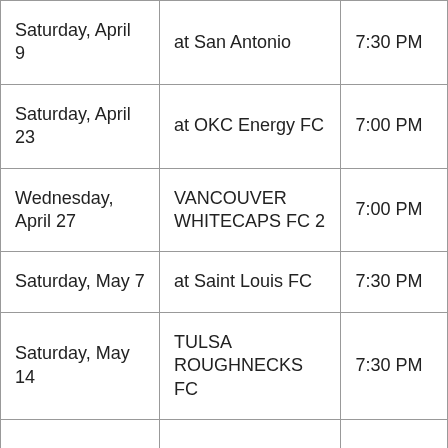| Saturday, April 9 | at San Antonio | 7:30 PM |
| Saturday, April 23 | at OKC Energy FC | 7:00 PM |
| Wednesday, April 27 | VANCOUVER WHITECAPS FC 2 | 7:00 PM |
| Saturday, May 7 | at Saint Louis FC | 7:30 PM |
| Saturday, May 14 | TULSA ROUGHNECKS FC | 7:30 PM |
| Saturday, May... | Rio Grande Valle... | 7:30 PM |